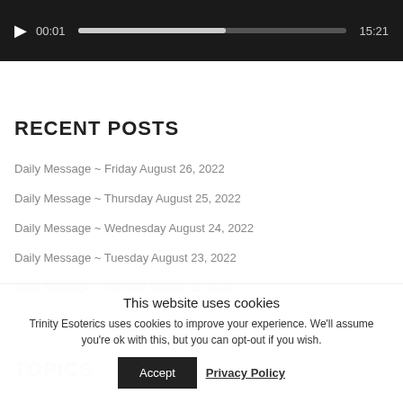[Figure (screenshot): Audio player widget with dark background, play button, progress bar at about 55%, time showing 00:01 on left and 15:21 on right]
RECENT POSTS
Daily Message ~ Friday August 26, 2022
Daily Message ~ Thursday August 25, 2022
Daily Message ~ Wednesday August 24, 2022
Daily Message ~ Tuesday August 23, 2022
Daily Message ~ Monday August 22, 2022
TOPICS
This website uses cookies
Trinity Esoterics uses cookies to improve your experience. We'll assume you're ok with this, but you can opt-out if you wish.
Accept  Privacy Policy